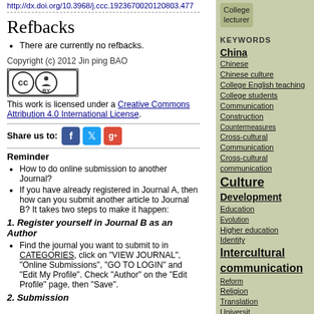http://dx.doi.org/10.3968/j.ccc.1923670020120803.477
Refbacks
There are currently no refbacks.
Copyright (c) 2012 Jin ping BAO
[Figure (logo): Creative Commons BY license badge]
This work is licensed under a Creative Commons Attribution 4.0 International License.
Share us to: [Facebook icon] [Twitter icon] [Google+ icon]
Reminder
How to do online submission to another Journal?
If you have already registered in Journal A, then how can you submit another article to Journal B? It takes two steps to make it happen:
1. Register yourself in Journal B as an Author
Find the journal you want to submit to in CATEGORIES, click on "VIEW JOURNAL", "Online Submissions", "GO TO LOGIN" and "Edit My Profile". Check "Author" on the "Edit Profile" page, then "Save".
2. Submission
College lecturer (sidebar role)
KEYWORDS: China, Chinese, Chinese culture, College English teaching, College students, Communication, Construction, Countermeasures, Cross-cultural Communication, Cross-cultural communication, Culture, Development, Education, Evolution, Higher education, Identity, Intercultural communication, Reform, Religion, Translation, University